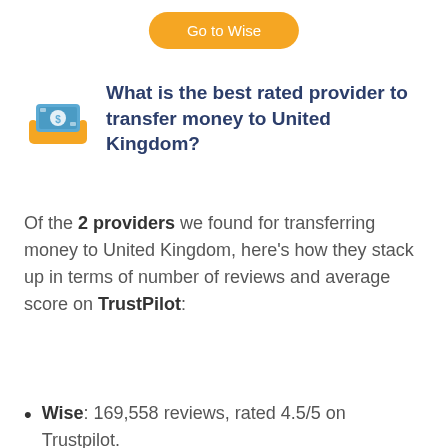[Figure (other): Orange rounded button labeled 'Go to Wise']
What is the best rated provider to transfer money to United Kingdom?
Of the 2 providers we found for transferring money to United Kingdom, here's how they stack up in terms of number of reviews and average score on TrustPilot:
Wise: 169,558 reviews, rated 4.5/5 on Trustpilot.